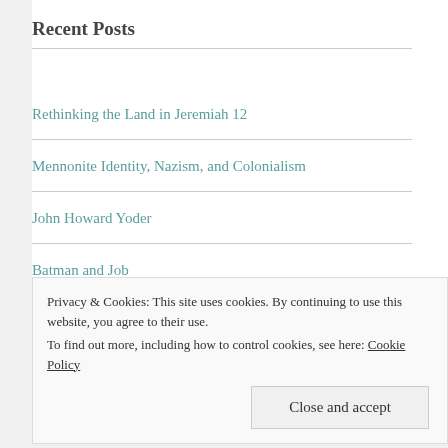Recent Posts
Rethinking the Land in Jeremiah 12
Mennonite Identity, Nazism, and Colonialism
John Howard Yoder
Batman and Job
Learning to Read on the Internet
Privacy & Cookies: This site uses cookies. By continuing to use this website, you agree to their use. To find out more, including how to control cookies, see here: Cookie Policy
Close and accept